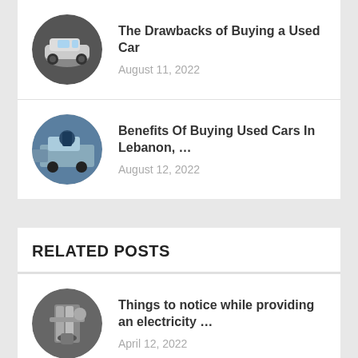[Figure (photo): Circular thumbnail of a white SUV car]
The Drawbacks of Buying a Used Car
August 11, 2022
[Figure (photo): Circular thumbnail of a person near a car in a parking lot]
Benefits Of Buying Used Cars In Lebanon, ...
August 12, 2022
RELATED POSTS
[Figure (photo): Circular thumbnail of a person handling electrical cables/wires]
Things to notice while providing an electricity ...
April 12, 2022